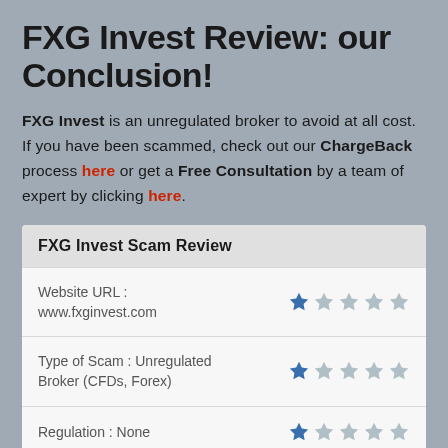FXG Invest Review: our Conclusion!
FXG Invest is an unregulated broker to avoid at all cost. If you have been scammed, check out our ChargeBack process here or get a Free Consultation by a team of expert by clicking here.
| Category | Rating |
| --- | --- |
| Website URL : www.fxginvest.com | 1/5 |
| Type of Scam : Unregulated Broker (CFDs, Forex) | 1/5 |
| Regulation : None | 1/5 |